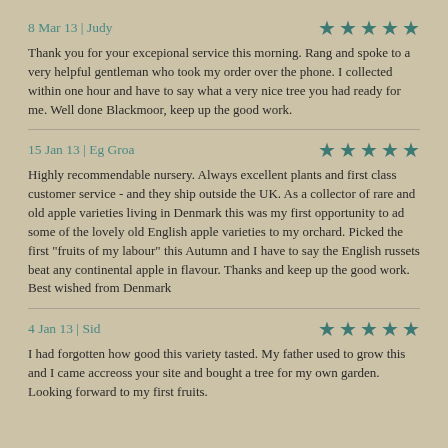8 Mar 13 | Judy — ★★★★★
Thank you for your excepional service this morning. Rang and spoke to a very helpful gentleman who took my order over the phone. I collected within one hour and have to say what a very nice tree you had ready for me. Well done Blackmoor, keep up the good work.
15 Jan 13 | Eg Groa — ★★★★★
Highly recommendable nursery. Always excellent plants and first class customer service - and they ship outside the UK. As a collector of rare and old apple varieties living in Denmark this was my first opportunity to ad some of the lovely old English apple varieties to my orchard. Picked the first "fruits of my labour" this Autumn and I have to say the English russets beat any continental apple in flavour. Thanks and keep up the good work. Best wished from Denmark
4 Jan 13 | Sid — ★★★★★
I had forgotten how good this variety tasted. My father used to grow this and I came accreoss your site and bought a tree for my own garden. Looking forward to my first fruits.